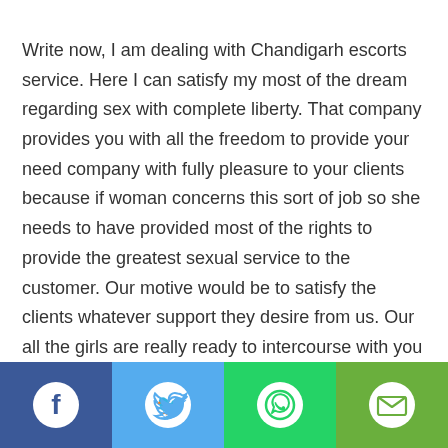Write now, I am dealing with Chandigarh escorts service. Here I can satisfy my most of the dream regarding sex with complete liberty. That company provides you with all the freedom to provide your need company with fully pleasure to your clients because if woman concerns this sort of job so she needs to have provided most of the rights to provide the greatest sexual service to the customer. Our motive would be to satisfy the clients whatever support they desire from us. Our all the girls are really ready to intercourse with you and offer you that sort of pleasure which you always desire to do.
[Figure (infographic): Social sharing bar with four buttons: Facebook (dark blue), Twitter (light blue), WhatsApp (green), Email (olive green), each with a white circular icon.]